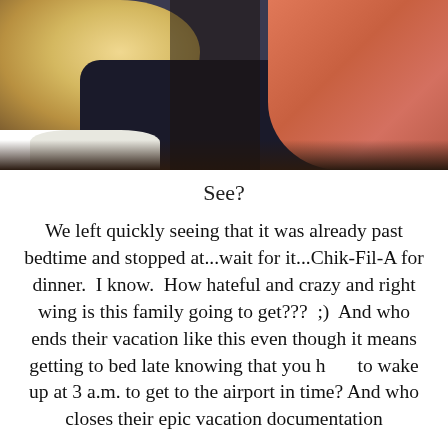[Figure (photo): Close-up photo of people, showing a blonde person's back of head, a dark jacket, white lace collar, and an orange/coral sleeved arm in the foreground against a dark background.]
See?
We left quickly seeing that it was already past bedtime and stopped at...wait for it...Chik-Fil-A for dinner.  I know.  How hateful and crazy and right wing is this family going to get???  ;)  And who ends their vacation like this even though it means getting to bed late knowing that you have to wake up at 3 a.m. to get to the airport in time? And who closes their epic vacation documentation